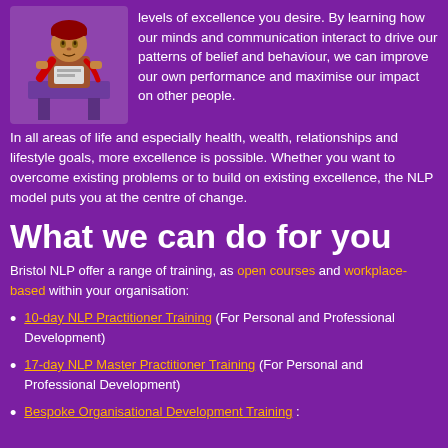[Figure (illustration): Cartoon illustration of a person in red and brown tones sitting at or near a purple/brown table, on a purple background]
levels of excellence you desire. By learning how our minds and communication interact to drive our patterns of belief and behaviour, we can improve our own performance and maximise our impact on other people. In all areas of life and especially health, wealth, relationships and lifestyle goals, more excellence is possible. Whether you want to overcome existing problems or to build on existing excellence, the NLP model puts you at the centre of change.
What we can do for you
Bristol NLP offer a range of training, as open courses and workplace-based within your organisation:
10-day NLP Practitioner Training (For Personal and Professional Development)
17-day NLP Master Practitioner Training (For Personal and Professional Development)
Bespoke Organisational Development Training :